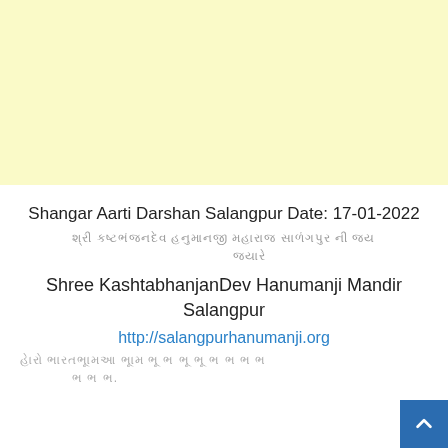[Figure (other): Light yellow banner image area at the top of the page]
Shangar Aarti Darshan Salangpur Date: 17-01-2022
Hindi text (Gujarati/Devanagari script) - decorative placeholder text
Shree KashtabhanjanDev Hanumanji Mandir Salangpur
http://salangpurhanumanji.org
Hindi/Gujarati script text at bottom